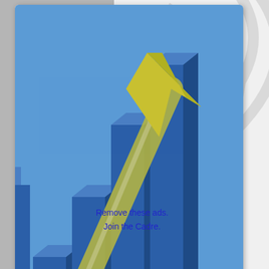[Figure (illustration): Bar chart illustration with blue 3D bars of increasing height and a golden/yellow upward-pointing arrow overlaid, plus a small inset graph icon at bottom right. Blue background on upper portion fading to white. Shadow/blur effect at bottom.]
Remove these ads.
Join the Cadre.